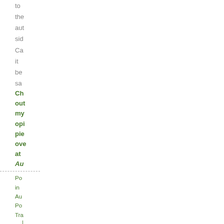to
the
aut
sid
Ca
it
be
sa
Ch
out
my
opi
pie
ove
at
Au
Posted in
Aut
Por
Tra
|
Per
|
Co
(1)
[Figure (other): Small green icon or button]